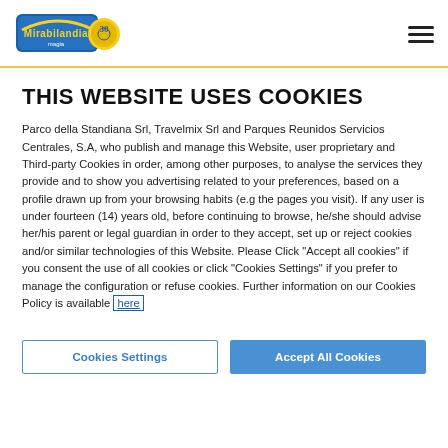Mirabilandia logo and navigation menu
THIS WEBSITE USES COOKIES
Parco della Standiana Srl, Travelmix Srl and Parques Reunidos Servicios Centrales, S.A, who publish and manage this Website, user proprietary and Third-party Cookies in order, among other purposes, to analyse the services they provide and to show you advertising related to your preferences, based on a profile drawn up from your browsing habits (e.g the pages you visit). If any user is under fourteen (14) years old, before continuing to browse, he/she should advise her/his parent or legal guardian in order to they accept, set up or reject cookies and/or similar technologies of this Website. Please Click "Accept all cookies" if you consent the use of all cookies or click "Cookies Settings" if you prefer to manage the configuration or refuse cookies. Further information on our Cookies Policy is available here
Cookies Settings
Accept All Cookies